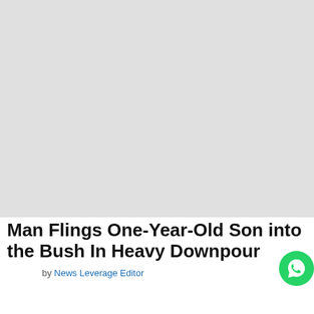[Figure (photo): Large light gray placeholder image occupying the top portion of the page]
Man Flings One-Year-Old Son into the Bush In Heavy Downpour
by News Leverage Editor